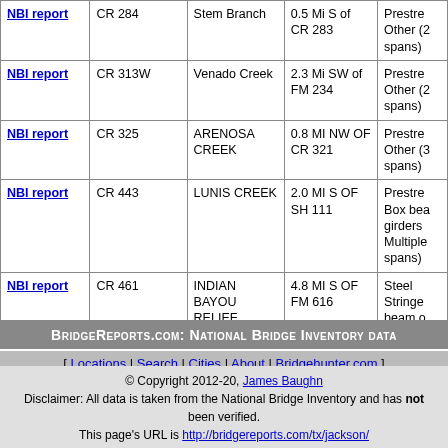|  | Road | Feature | Location | Structure |
| --- | --- | --- | --- | --- |
| NBI report | CR 284 | Stem Branch | 0.5 Mi S of CR 283 | Prestre Other (2 spans) |
| NBI report | CR 313W | Venado Creek | 2.3 Mi SW of FM 234 | Prestre Other (2 spans) |
| NBI report | CR 325 | ARENOSA CREEK | 0.8 MI NW OF CR 321 | Prestre Other (3 spans) |
| NBI report | CR 443 | LUNIS CREEK | 2.0 MI S OF SH 111 | Prestre Box bea girders Multiple spans) |
| NBI report | CR 461 | INDIAN BAYOU RELIEF | 4.8 MI S OF FM 616 | Steel Stringe beam o girder |
BridgeReports.com: National Bridge Inventory data
[ Locations | Search | Cities | About | Bridgehunter.com ]
© Copyright 2012-20, James Baughn
Disclaimer: All data is taken from the National Bridge Inventory and has not been verified.
This page's URL is http://bridgereports.com/tx/jackson/